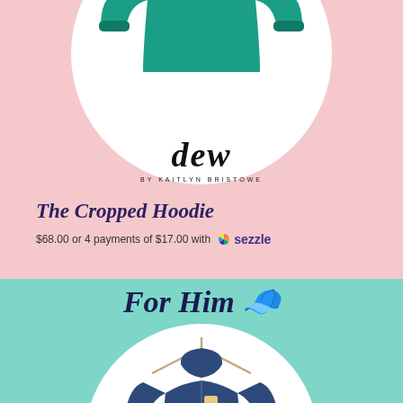[Figure (photo): Teal/green cropped hoodie displayed in white circle on pink background, with dew by Kaitlyn Bristowe logo below]
The Cropped Hoodie
$68.00 or 4 payments of $17.00 with sezzle
For Him 🧢
[Figure (photo): Navy blue hoodie on hanger displayed in white circle on teal/mint background]